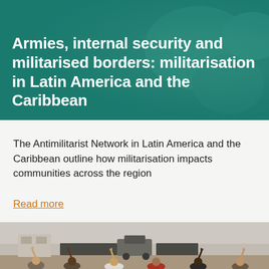Armies, internal security and militarised borders: militarisation in Latin America and the Caribbean
The Antimilitarist Network in Latin America and the Caribbean outline how militarisation impacts communities across the region
Read more
[Figure (photo): Protesters facing riot police and an armoured vehicle, raising their hands with peace signs in a desert/arid setting]